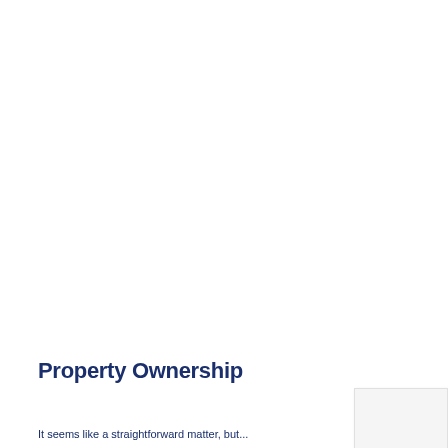Property Ownership
It seems like a straightforward matter, but...